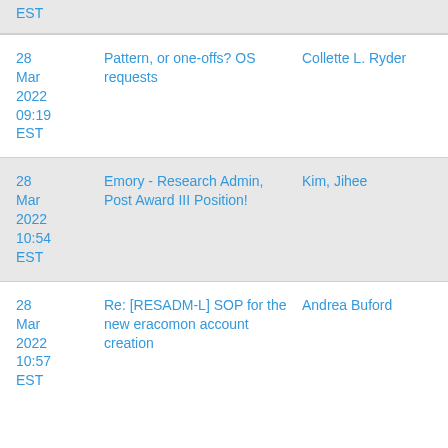EST
| Date | Subject | Sender |
| --- | --- | --- |
| 28 Mar 2022 09:19 EST | Pattern, or one-offs? OS requests | Collette L. Ryder |
| 28 Mar 2022 10:54 EST | Emory - Research Admin, Post Award III Position! | Kim, Jihee |
| 28 Mar 2022 10:57 EST | Re: [RESADM-L] SOP for the new eracomon account creation | Andrea Buford |